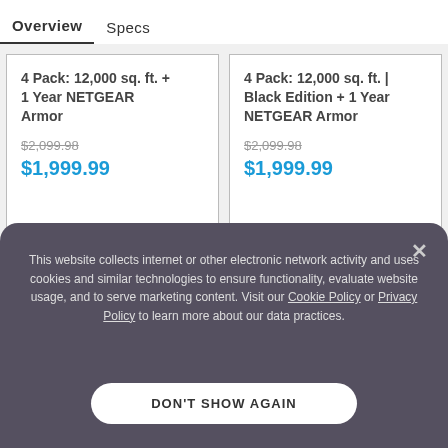Overview   Specs
4 Pack: 12,000 sq. ft. + 1 Year NETGEAR Armor
$2,099.98
$1,999.99
4 Pack: 12,000 sq. ft. | Black Edition + 1 Year NETGEAR Armor
$2,099.98
$1,999.99
3 Pack: 9,000 sq. ft. | White Edition + 1 Year
3 Pack: 9,000 sq. ft. | Black Edition + 1 Year
This website collects internet or other electronic network activity and uses cookies and similar technologies to ensure functionality, evaluate website usage, and to serve marketing content. Visit our Cookie Policy or Privacy Policy to learn more about our data practices.
DON'T SHOW AGAIN